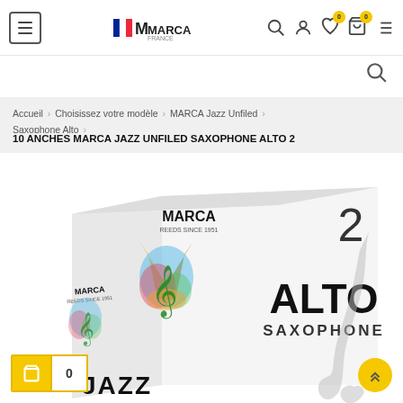MARCA France navigation header with hamburger menu, logo, search, account, wishlist (0), cart (0), and list view icons
Accueil > Choisissez votre modèle > MARCA Jazz Unfiled > Saxophone Alto >
10 ANCHES MARCA JAZZ UNFILED SAXOPHONE ALTO 2
[Figure (photo): Product photo of MARCA Jazz Unfiled Alto Saxophone reeds box (strength 2), showing the white box with colorful MARCA logo featuring a treble clef and saxophone reeds design, with 'ALTO SAXOPHONE' text on the side and 'JAZZ' text at the bottom. A partial saxophone silhouette is visible on the right.]